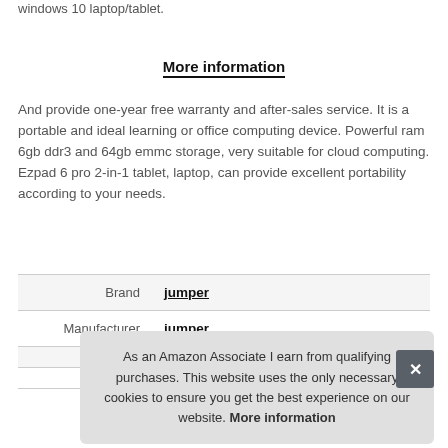windows 10 laptop/tablet.
More information
And provide one-year free warranty and after-sales service. It is a portable and ideal learning or office computing device. Powerful ram 6gb ddr3 and 64gb emmc storage, very suitable for cloud computing. Ezpad 6 pro 2-in-1 tablet, laptop, can provide excellent portability according to your needs.
| Brand | jumper |
| Manufacturer | jumper |
As an Amazon Associate I earn from qualifying purchases. This website uses the only necessary cookies to ensure you get the best experience on our website. More information